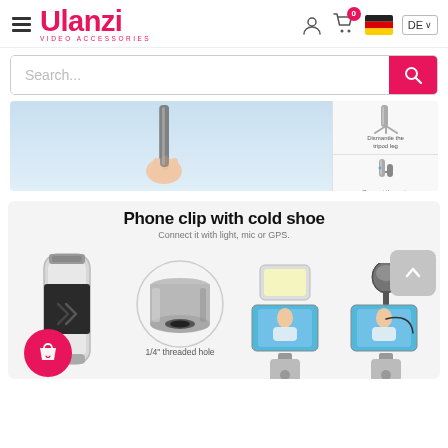[Figure (screenshot): Ulanzi website header with hamburger menu, Ulanzi logo, user icon, cart icon with 0 badge, German flag, DE language selector]
[Figure (screenshot): Search bar with placeholder text 'Search...' and pink search button]
[Figure (photo): Product banner showing a hand holding a tripod leg against a light blue background, with two thumbnail images on the right showing disassembly steps]
[Figure (screenshot): Phone clip with cold shoe product section showing product images, 1/4 inch threaded hole detail, and usage examples with light and microphone]
Phone clip with cold shoe
Connect it with light, mic or GPS.
1/4" threaded hole